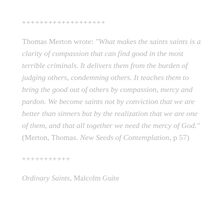+++++++++++++++++++
Thomas Merton wrote: "What makes the saints saints is a clarity of compassion that can find good in the most terrible criminals. It delivers them from the burden of judging others, condemning others. It teaches them to bring the good out of others by compassion, mercy and pardon. We become saints not by conviction that we are better than sinners but by the realization that we are one of them, and that all together we need the mercy of God." (Merton, Thomas. New Seeds of Contemplation, p 57)
+++++++++++
Ordinary Saints, Malcolm Guite